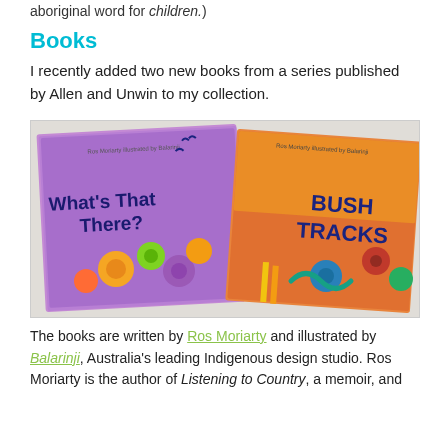aboriginal word for children.)
Books
I recently added two new books from a series published by Allen and Unwin to my collection.
[Figure (photo): Two children's books laid on a table: 'What's That There?' and 'Bush Tracks', both written by Ros Moriarty and illustrated by Balarinji, featuring colorful Indigenous Australian designs with flowers, animals and patterns.]
The books are written by Ros Moriarty and illustrated by Balarinji, Australia's leading Indigenous design studio. Ros Moriarty is the author of Listening to Country, a memoir, and